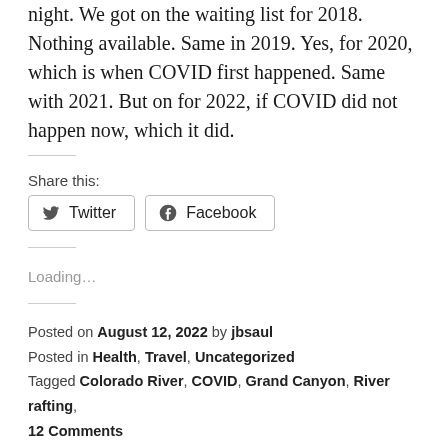night. We got on the waiting list for 2018. Nothing available. Same in 2019. Yes, for 2020, which is when COVID first happened. Same with 2021. But on for 2022, if COVID did not happen now, which it did.
Share this:
[Figure (other): Twitter and Facebook share buttons]
Loading…
Posted on August 12, 2022 by jbsaul
Posted in Health, Travel, Uncategorized
Tagged Colorado River, COVID, Grand Canyon, River rafting,
12 Comments